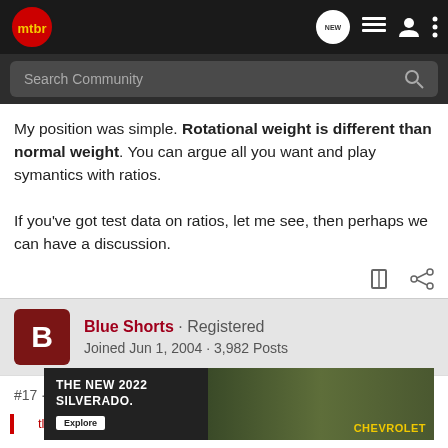mtbr — Search Community
My position was simple. Rotational weight is different than normal weight. You can argue all you want and play symantics with ratios.

If you've got test data on ratios, let me see, then perhaps we can have a discussion.
Blue Shorts · Registered
Joined Jun 1, 2004 · 3,982 Posts
#17 · Apr 26, 2005
[Figure (screenshot): Chevrolet Silverado 2022 advertisement banner showing the text 'THE NEW 2022 SILVERADO.' with an Explore button and Chevrolet logo, with a truck in the background.]